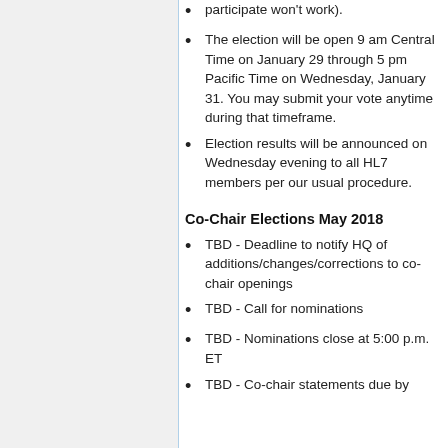participate won't work).
The election will be open 9 am Central Time on January 29 through 5 pm Pacific Time on Wednesday, January 31. You may submit your vote anytime during that timeframe.
Election results will be announced on Wednesday evening to all HL7 members per our usual procedure.
Co-Chair Elections May 2018
TBD - Deadline to notify HQ of additions/changes/corrections to co-chair openings
TBD - Call for nominations
TBD - Nominations close at 5:00 p.m. ET
TBD - Co-chair statements due by